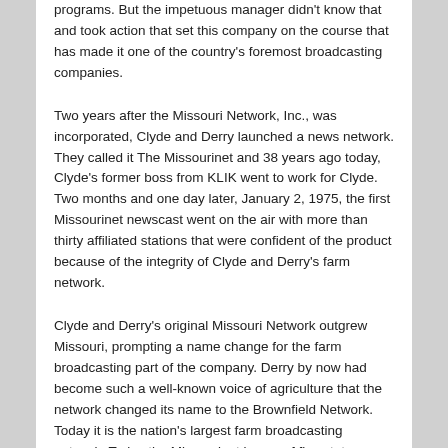programs.  But the impetuous manager didn't know that and took action that set this company on the course that has made it one of the country's foremost broadcasting companies.
Two years after the Missouri Network, Inc., was incorporated, Clyde and Derry launched a news network. They called it The Missourinet and 38 years ago today, Clyde's former boss from KLIK went to work for Clyde. Two months and one day later, January 2, 1975, the first Missourinet newscast went on the air with more than thirty affiliated stations that were confident of the product because of the integrity of Clyde and Derry's farm network.
Clyde and Derry's original Missouri Network outgrew Missouri, prompting a name change for the farm broadcasting part of the company.  Derry by now had become such a well-known voice of agriculture that the network changed its name to the Brownfield Network. Today it is the nation's largest farm broadcasting network. Today the Missourinet is one of five state news networks